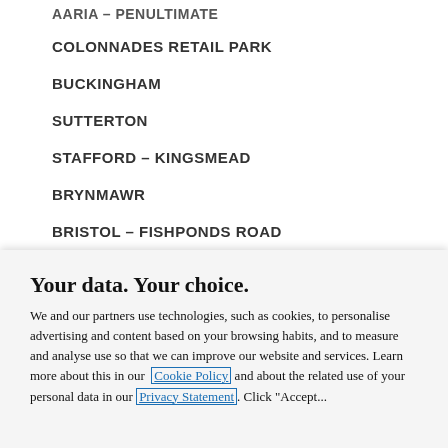AARIA - PENULTIMATE
COLONNADES RETAIL PARK
BUCKINGHAM
SUTTERTON
STAFFORD - KINGSMEAD
BRYNMAWR
BRISTOL - FISHPONDS ROAD
Your data. Your choice.
We and our partners use technologies, such as cookies, to personalise advertising and content based on your browsing habits, and to measure and analyse use so that we can improve our website and services. Learn more about this in our Cookie Policy and about the related use of your personal data in our Privacy Statement. Click "Accept..."